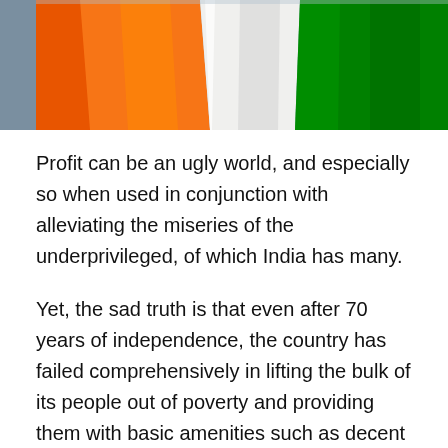[Figure (photo): Close-up photograph of the Indian national flag showing saffron, white, and green colors with fabric folds and texture.]
Profit can be an ugly world, and especially so when used in conjunction with alleviating the miseries of the underprivileged, of which India has many.
Yet, the sad truth is that even after 70 years of independence, the country has failed comprehensively in lifting the bulk of its people out of poverty and providing them with basic amenities such as decent education, healthcare, and financial inclusiveness.
That said, profit-seeking solutions for this have also failed spectacularly. It was not so long ago that a